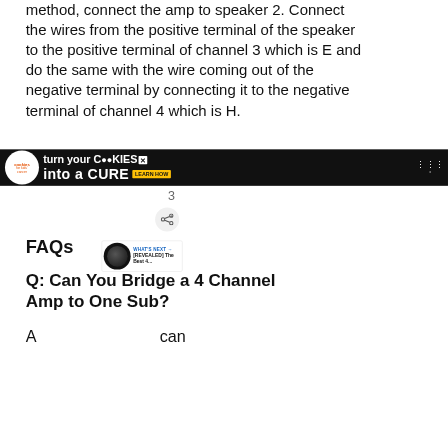method, connect the amp to speaker 2. Connect the wires from the positive terminal of the speaker to the positive terminal of channel 3 which is E and do the same with the wire coming out of the negative terminal by connecting it to the negative terminal of channel 4 which is H.
FAQs
Q: Can You Bridge a 4 Channel Amp to One Sub?
A
[Figure (other): Advertisement banner: cookies for kids cancer - turn your COOKIES into a CURE LEARN HOW]